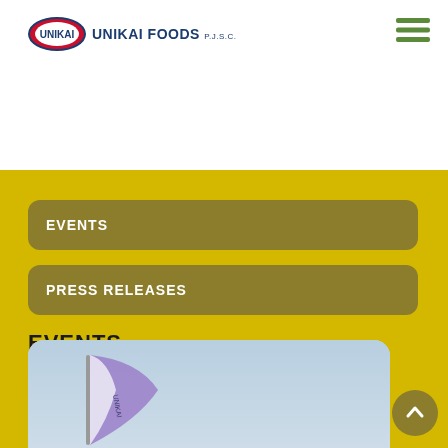[Figure (logo): Unikai Foods P.J.S.C. logo with oval red/blue emblem and company name]
[Figure (other): Hamburger/menu icon with three green horizontal lines]
EVENTS
PRESS RELEASES
EVENTS
[Figure (photo): Photo showing a flag/banner on a pole against a sky background with purple/white event banner]